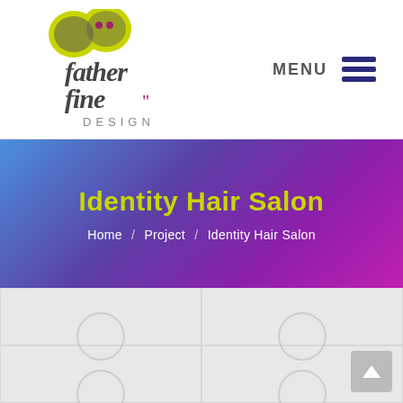[Figure (logo): Father Fine Design logo with yellow speech bubble quotation marks and stylized text reading 'father fine DESIGN' in dark gray]
MENU ≡
Identity Hair Salon
Home / Project / Identity Hair Salon
[Figure (screenshot): Gray grid content area with faint tile borders and partial circles visible at the bottom]
[Figure (other): Back to top arrow button in gray]